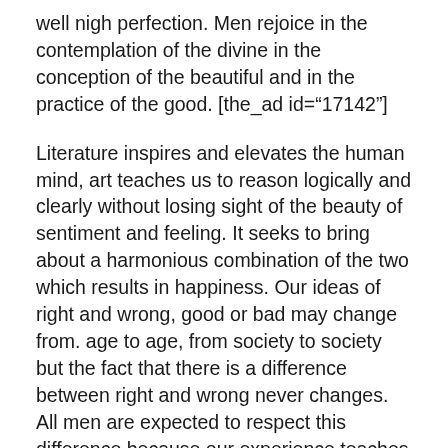well nigh perfection. Men rejoice in the contemplation of the divine in the conception of the beautiful and in the practice of the good. [the_ad id="17142"]
Literature inspires and elevates the human mind, art teaches us to reason logically and clearly without losing sight of the beauty of sentiment and feeling. It seeks to bring about a harmonious combination of the two which results in happiness. Our ideas of right and wrong, good or bad may change from. age to age, from society to society but the fact that there is a difference between right and wrong never changes. All men are expected to respect this difference because our experience teaches us that human happiness can be achieved only through that means. Literature and art help to